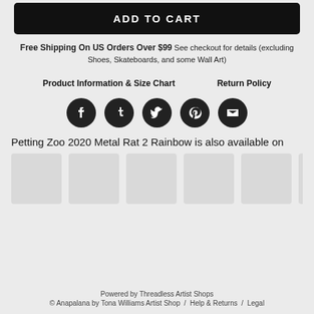ADD TO CART
Free Shipping On US Orders Over $99 See checkout for details (excluding Shoes, Skateboards, and some Wall Art)
Product Information & Size Chart   Return Policy
[Figure (infographic): Five circular dark social share buttons: Facebook, Tumblr, Twitter, Pinterest, Email]
Petting Zoo 2020 Metal Rat 2 Rainbow is also available on
[Figure (photo): Six light grey product thumbnail placeholder images in a row]
Powered by Threadless Artist Shops
© Anapalana by Tona Williams Artist Shop / Help & Returns / Legal